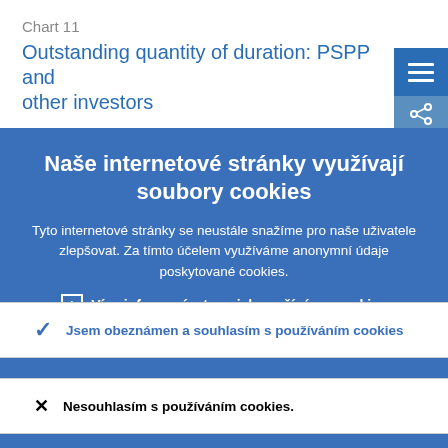Chart 11
Outstanding quantity of duration: PSPP and other investors
Naše internetové stránky využívají soubory cookies
Tyto internetové stránky se neustále snažíme pro naše uživatele zlepšovat. Za tímto účelem využíváme anonymní údaje poskytované cookies.
› Více informací o tom, jak využíváme cookies
✓ Jsem obeznámen a souhlasím s používáním cookies
✕ Nesouhlasím s používáním cookies.